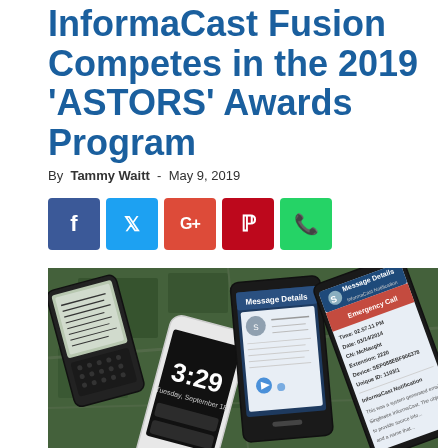InformaCast Fusion Competes in the 2019 'ASTORS' Awards Program
By Tammy Waitt - May 9, 2019
[Figure (infographic): Row of five social media share buttons: Facebook (blue), Twitter (light blue), Google+ (red-orange), Pinterest (red), WhatsApp (green)]
[Figure (photo): Aerial satellite map view with multiple smartphones overlaid showing InformaCast notifications and emergency alerts on their screens. Devices include a BlackBerry, iPhone showing 3:29, and two Samsung Android phones displaying InformaCast Message Details with emergency call notification details.]